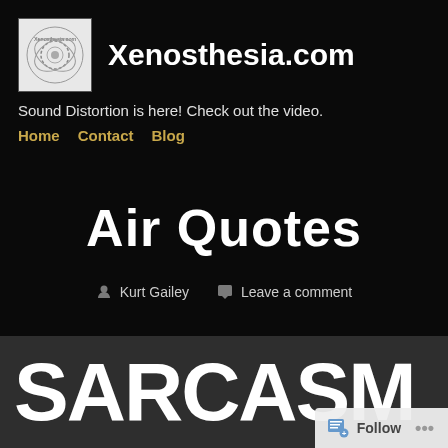Xenosthesia.com
Sound Distortion is here! Check out the video.
Home   Contact   Blog
Air Quotes
Kurt Gailey   Leave a comment
[Figure (other): Partial view of large bold white text reading SARCASM on dark background]
Follow